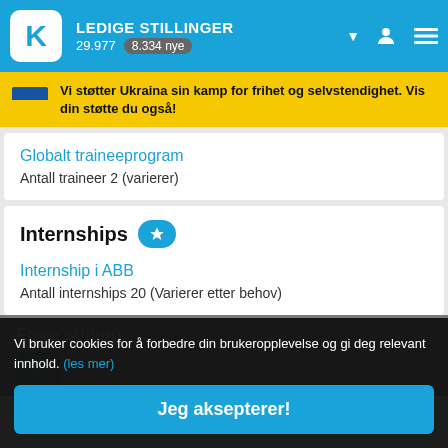LEDIGE STILLINGER 29.977  8.334 nye
Vi støtter Ukraina sin kamp for frihet og selvstendighet. Vis din støtte du også!
Globalt traineeprogram
Antall traineer 2 (varierer)
Internships
Internship i ABB
Antall internships 20 (Varierer etter behov)
Flere stillinger
Aleris Frogner opplever økt aktivitet og... Bli med... helsetjeneste i et fremtidsrettet selskap med et viktig...
Vi bruker cookies for å forbedre din brukeropplevelse og gi deg relevant innhold. (les mer)
Jeg aksepterer!